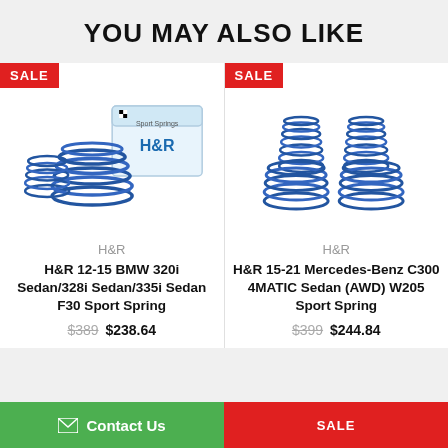YOU MAY ALSO LIKE
[Figure (photo): H&R sport springs product photo with H&R branded box. Blue coil springs displayed next to the white product box.]
H&R
H&R 12-15 BMW 320i Sedan/328i Sedan/335i Sedan F30 Sport Spring
$389 $238.64
[Figure (photo): H&R sport springs product photo. Four blue coil springs displayed without box.]
H&R
H&R 15-21 Mercedes-Benz C300 4MATIC Sedan (AWD) W205 Sport Spring
$399 $244.84